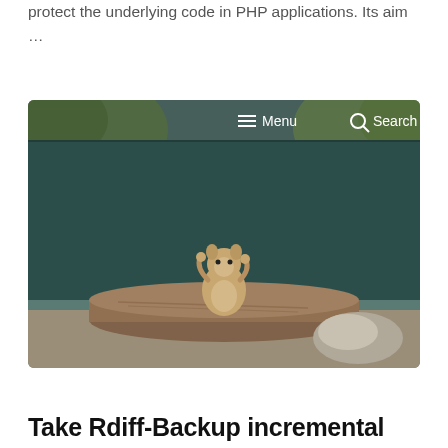protect the underlying code in PHP applications. Its aim …
[Figure (screenshot): Screenshot of a website showing a small squirrel or marmot sitting on a wooden log against a dark teal wall background, with a navigation bar at the top showing Search and Menu options.]
Take Rdiff-Backup incremental